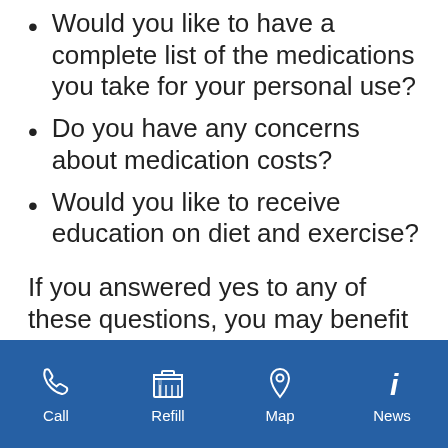Would you like to have a complete list of the medications you take for your personal use?
Do you have any concerns about medication costs?
Would you like to receive education on diet and exercise?
If you answered yes to any of these questions, you may benefit from medication therapy management. With this program,
Call | Refill | Map | News